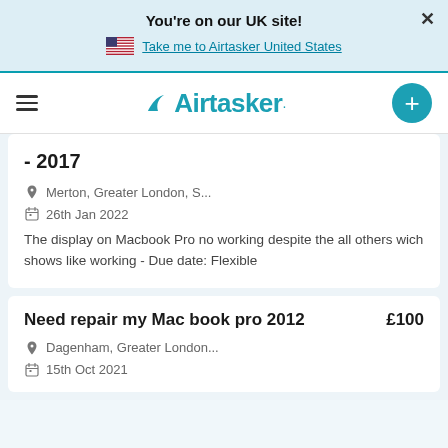You're on our UK site!
Take me to Airtasker United States
[Figure (logo): Airtasker logo with hamburger menu and plus button]
- 2017
Merton, Greater London, S...
26th Jan 2022
The display on Macbook Pro no working despite the all others wich shows like working - Due date: Flexible
Need repair my Mac book pro 2012  £100
Dagenham, Greater London...
15th Oct 2021